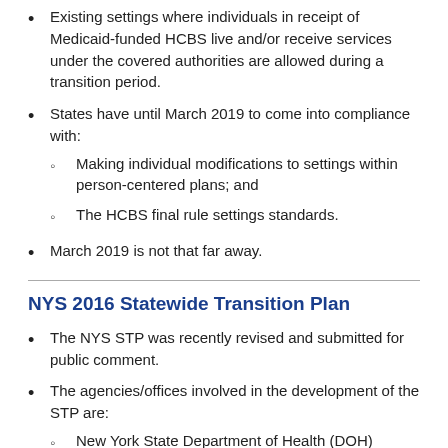Existing settings where individuals in receipt of Medicaid-funded HCBS live and/or receive services under the covered authorities are allowed during a transition period.
States have until March 2019 to come into compliance with:
Making individual modifications to settings within person-centered plans; and
The HCBS final rule settings standards.
March 2019 is not that far away.
NYS 2016 Statewide Transition Plan
The NYS STP was recently revised and submitted for public comment.
The agencies/offices involved in the development of the STP are:
New York State Department of Health (DOH)
AIDS Institute